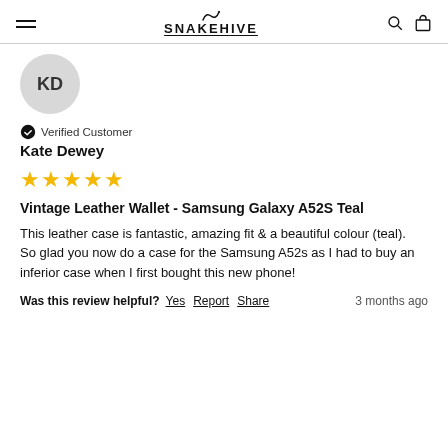SNAKEHIVE
[Figure (other): User avatar circle with initials KD]
Verified Customer
Kate Dewey
[Figure (other): 5 gold stars rating]
Vintage Leather Wallet - Samsung Galaxy A52S Teal
This leather case is fantastic, amazing fit & a beautiful colour (teal).  So glad you now do a case for the Samsung A52s as I had to buy an inferior case when I first bought this new phone!
Was this review helpful? Yes Report Share 3 months ago